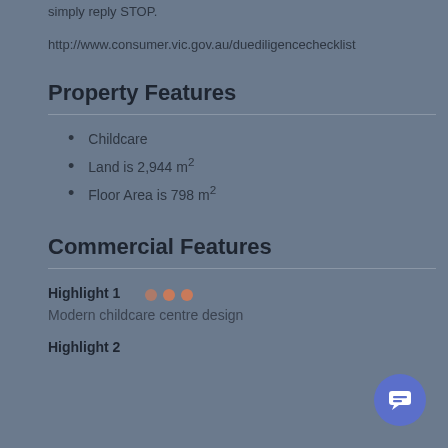simply reply STOP.
http://www.consumer.vic.gov.au/duediligencechecklist
Property Features
Childcare
Land is 2,944 m²
Floor Area is 798 m²
Commercial Features
Highlight 1
Modern childcare centre design
Highlight 2